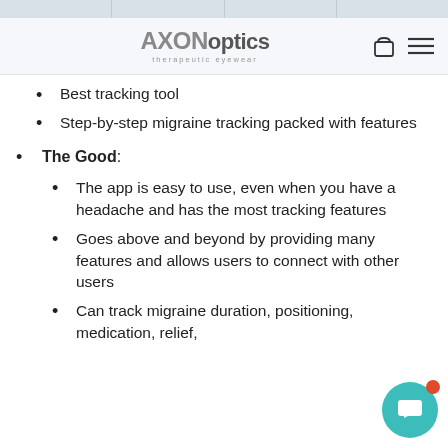Axon Optics — therapeutic eyewear
Best tracking tool
Step-by-step migraine tracking packed with features
The Good:
The app is easy to use, even when you have a headache and has the most tracking features
Goes above and beyond by providing many features and allows users to connect with other users
Can track migraine duration, positioning, medication, relief,